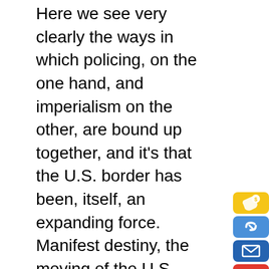Here we see very clearly the ways in which policing, on the one hand, and imperialism on the other, are bound up together, and it's that the U.S. border has been, itself, an expanding force. Manifest destiny, the moving of the U.S. border through the imperial control, in the seizure of Native territory, Indigenous genocide, seizure of Mexican territory, is all part of a global policing paramilitary structure that we see expanding even further today. The good thing about this, it's incredibly daunting to think about all these things together. Still, the good thing about adopting a kind of global framework is the realization that on a global level, we can talk about the broad vast global majority that can be involved in this struggle against policing, against global imperialism, against white supremacy as a structured premise of global order. This is a global majority for the world without police,
[Figure (illustration): Sidebar icons: mailbox icon, yellow money/hand icon, blue chain-link icon, blue envelope icon, red Gmail icon, blue Facebook icon]